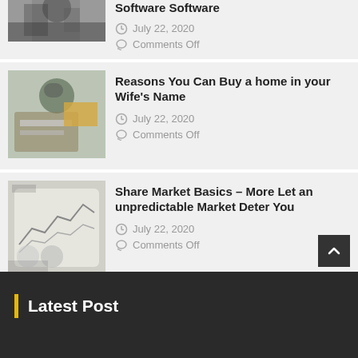[Figure (photo): Partial view of person in business setting, top of card cut off]
Software Software
July 22, 2020
Comments Off
[Figure (photo): Woman with glasses working at laptop, holding something yellow]
Reasons You Can Buy a home in your Wife's Name
July 22, 2020
Comments Off
[Figure (photo): Hands holding tablet showing financial charts and graphs]
Share Market Basics – More Let an unpredictable Market Deter You
July 22, 2020
Comments Off
Latest Post